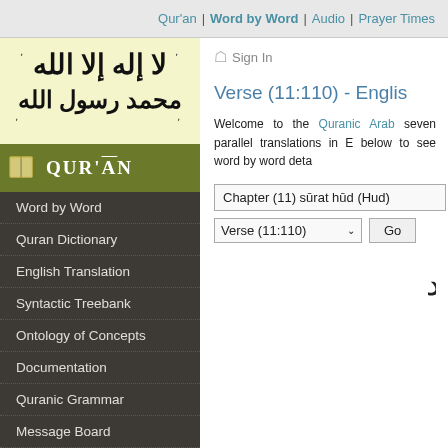Qur'an | Word by Word | Audio | Prayer Times
[Figure (illustration): Arabic calligraphy (Shahada) on cream/yellow background in left sidebar logo area]
[Figure (logo): Qur'an banner with open book icon and text QUR'AN on olive green background]
Word by Word
Quran Dictionary
English Translation
Syntactic Treebank
Ontology of Concepts
Documentation
Quranic Grammar
Message Board
Sign In
Verse (11:110) - Engli...
Welcome to the Quranic Arab... seven parallel translations in E... below to see word by word deta...
Chapter (11) sūrat hūd (Hud)
Verse (11:110)
[Figure (illustration): Arabic script at bottom right of content area]